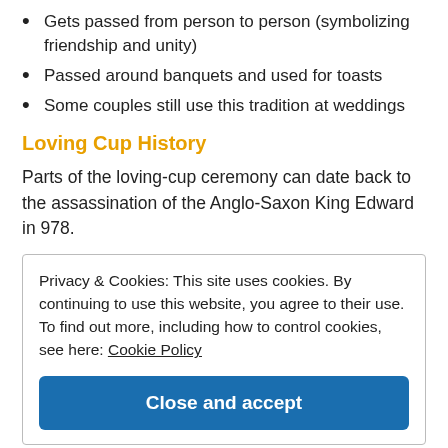Gets passed from person to person (symbolizing friendship and unity)
Passed around banquets and used for toasts
Some couples still use this tradition at weddings
Loving Cup History
Parts of the loving-cup ceremony can date back to the assassination of the Anglo-Saxon King Edward in 978.
Privacy & Cookies: This site uses cookies. By continuing to use this website, you agree to their use.
To find out more, including how to control cookies, see here: Cookie Policy
Close and accept